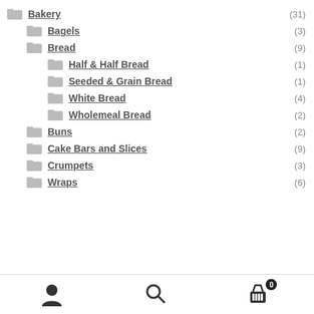Bakery (31)
Bagels (3)
Bread (9)
Half & Half Bread (1)
Seeded & Grain Bread (1)
White Bread (4)
Wholemeal Bread (2)
Buns (2)
Cake Bars and Slices (9)
Crumpets (3)
Wraps (6)
Navigation bar with user, search, and cart icons